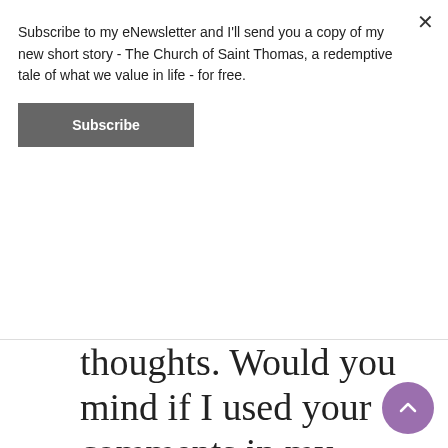Subscribe to my eNewsletter and I'll send you a copy of my new short story - The Church of Saint Thomas, a redemptive tale of what we value in life - for free.
Subscribe
thoughts. Would you mind if I used your comments in my social media to encourage others who may be interested in reading?
Like